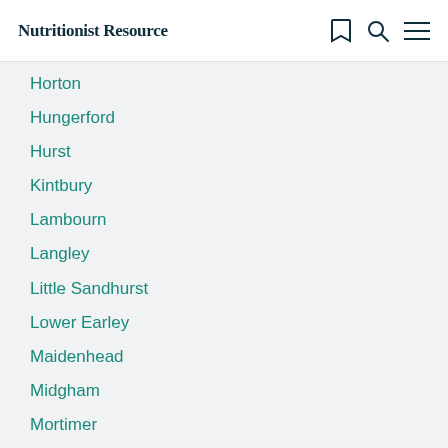Nutritionist Resource
Horton
Hungerford
Hurst
Kintbury
Lambourn
Langley
Little Sandhurst
Lower Earley
Maidenhead
Midgham
Mortimer
Newbury
Old Windsor
Pangbourne
Reading